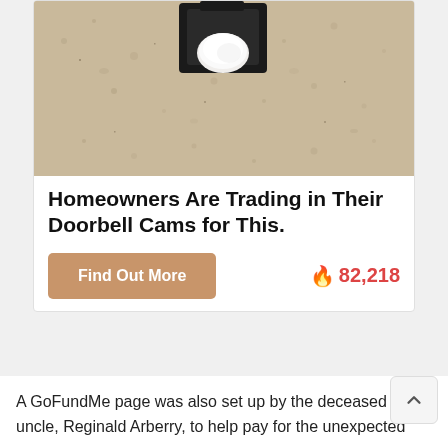[Figure (photo): A doorbell camera mounted on a stucco/textured beige wall, black square bracket housing with a white rounded light or sensor bulb visible inside.]
Homeowners Are Trading in Their Doorbell Cams for This.
Find Out More   🔥82,218
A GoFundMe page was also set up by the deceased girl's uncle, Reginald Arberry, to help pay for the unexpected